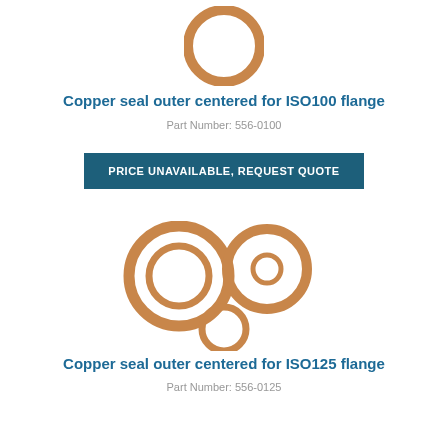[Figure (illustration): Copper ring/seal washer for ISO100 flange, single ring viewed from front]
Copper seal outer centered for ISO100 flange
Part Number: 556-0100
PRICE UNAVAILABLE, REQUEST QUOTE
[Figure (illustration): Four copper ring/seal washers of varying sizes for ISO125 flange, grouped together]
Copper seal outer centered for ISO125 flange
Part Number: 556-0125